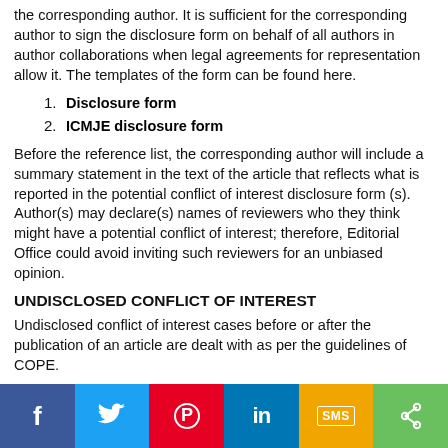the corresponding author. It is sufficient for the corresponding author to sign the disclosure form on behalf of all authors in author collaborations when legal agreements for representation allow it. The templates of the form can be found here.
1. Disclosure form
2. ICMJE disclosure form
Before the reference list, the corresponding author will include a summary statement in the text of the article that reflects what is reported in the potential conflict of interest disclosure form (s). Author(s) may declare(s) names of reviewers who they think might have a potential conflict of interest; therefore, Editorial Office could avoid inviting such reviewers for an unbiased opinion.
UNDISCLOSED CONFLICT OF INTEREST
Undisclosed conflict of interest cases before or after the publication of an article are dealt with as per the guidelines of COPE.
1. Undisclosed conflict of interest in a submitted article (View COPE guidelines)
2. Undisclosed conflict of interest in a published article (View COPE guidelines)